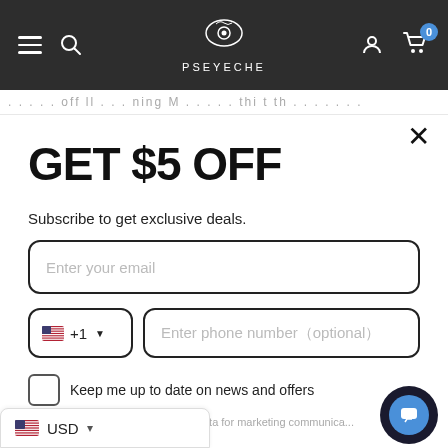[Figure (screenshot): E-commerce website header with dark background showing hamburger menu, search icon, PSEYECHE logo with eye illustration, account icon, and cart icon with badge showing 0]
promotional ticker bar text (partially visible)
GET $5 OFF
Subscribe to get exclusive deals.
Enter your email
+1   Enter phone number（optional）
Keep me up to date on news and offers
n on how we process your data for marketing communications, please see our policy.
USD